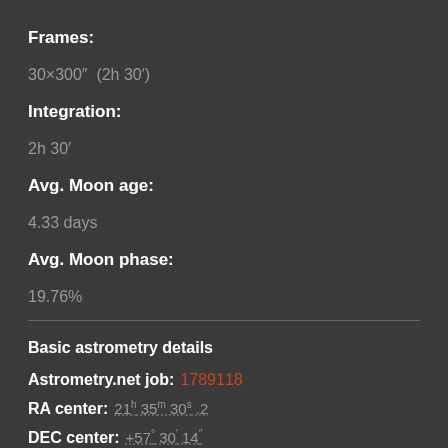Frames:
30×300″  (2h 30′)
Integration:
2h 30′
Avg. Moon age:
4.33 days
Avg. Moon phase:
19.76%
Basic astrometry details
Astrometry.net job:  1789118
RA center:  21h 35m 30s .2
DEC center:  +57° 30′ 14″
Pixel scale:  1.696 arcsec/pixel